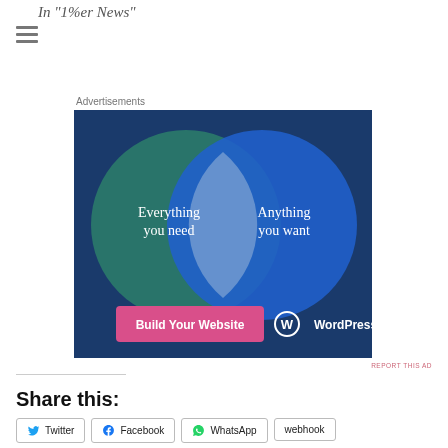In "1%er News"
Advertisements
[Figure (illustration): WordPress.com advertisement showing a Venn diagram with two overlapping circles. Left circle (teal/green): 'Everything you need', Right circle (blue): 'Anything you want'. Overlapping area is light blue-white. Bottom left has a pink button 'Build Your Website'. Bottom right shows WordPress.com logo.]
REPORT THIS AD
Share this:
Twitter
Facebook
WhatsApp
webhook